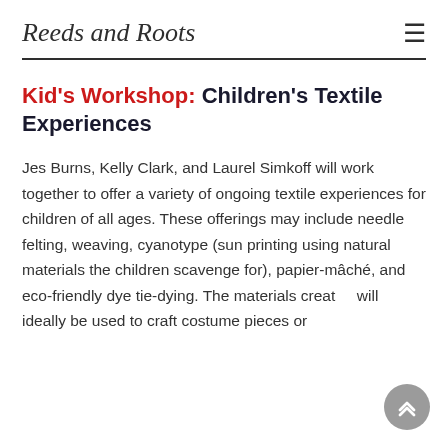Reeds and Roots
Kid's Workshop: Children's Textile Experiences
Jes Burns, Kelly Clark, and Laurel Simkoff will work together to offer a variety of ongoing textile experiences for children of all ages. These offerings may include needle felting, weaving, cyanotype (sun printing using natural materials the children scavenge for), papier-mâché, and eco-friendly dye tie-dying. The materials creat… will ideally be used to craft costume pieces or